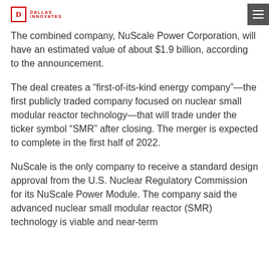Dallas Innovates
The combined company, NuScale Power Corporation, will have an estimated value of about $1.9 billion, according to the announcement.
The deal creates a “first-of-its-kind energy company”—the first publicly traded company focused on nuclear small modular reactor technology—that will trade under the ticker symbol “SMR” after closing. The merger is expected to complete in the first half of 2022.
NuScale is the only company to receive a standard design approval from the U.S. Nuclear Regulatory Commission for its NuScale Power Module. The company said the advanced nuclear small modular reactor (SMR) technology is viable and near-term